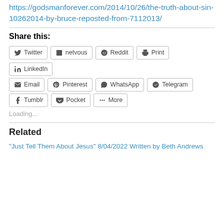https://godsmanforever.com/2014/10/26/the-truth-about-sin-10262014-by-bruce-reposted-from-7112013/
Share this:
[Figure (infographic): Social share buttons: Twitter, netvous, Reddit, Print, LinkedIn, Email, Pinterest, WhatsApp, Telegram, Tumblr, Pocket, More]
Loading...
Related
“Just Tell Them About Jesus” 8/04/2022 Written by Beth Andrews